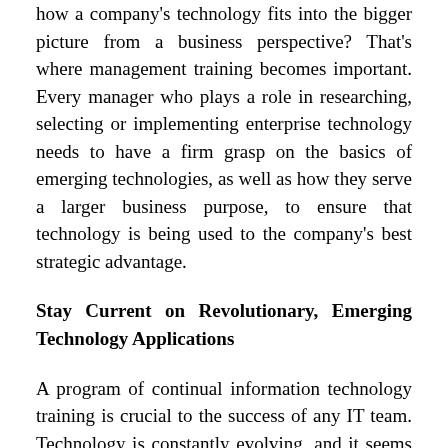how a company's technology fits into the bigger picture from a business perspective? That's where management training becomes important. Every manager who plays a role in researching, selecting or implementing enterprise technology needs to have a firm grasp on the basics of emerging technologies, as well as how they serve a larger business purpose, to ensure that technology is being used to the company's best strategic advantage.
Stay Current on Revolutionary, Emerging Technology Applications
A program of continual information technology training is crucial to the success of any IT team. Technology is constantly evolving, and it seems that there is a new application released every day that is meant to simplify doing business. This can be overwhelming if you do not stay current on the high-level trends of technology and their corresponding impact on